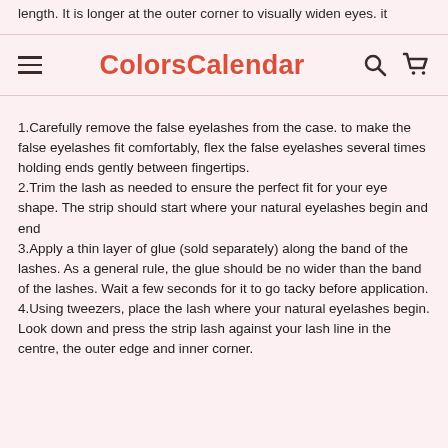length. It is longer at the outer corner to visually widen eyes. it
ColorsCalendar
1.Carefully remove the false eyelashes from the case. to make the false eyelashes fit comfortably, flex the false eyelashes several times holding ends gently between fingertips.
2.Trim the lash as needed to ensure the perfect fit for your eye shape. The strip should start where your natural eyelashes begin and end
3.Apply a thin layer of glue (sold separately) along the band of the lashes. As a general rule, the glue should be no wider than the band of the lashes. Wait a few seconds for it to go tacky before application.
4.Using tweezers, place the lash where your natural eyelashes begin. Look down and press the strip lash against your lash line in the centre, the outer edge and inner corner.